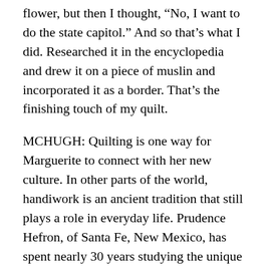flower, but then I thought, “No, I want to do the state capitol.” And so that’s what I did. Researched it in the encyclopedia and drew it on a piece of muslin and incorporated it as a border. That’s the finishing touch of my quilt.
MCHUGH: Quilting is one way for Marguerite to connect with her new culture. In other parts of the world, handiwork is an ancient tradition that still plays a role in everyday life. Prudence Hefron, of Santa Fe, New Mexico, has spent nearly 30 years studying the unique folk art of the Cuna Indians.
PRUDENCE HEFRON: They are an indigenous Indian people. They speak their own language, which is Cuna. They live on a large group of tiny little islands that run along the coastline of Panama, literally hugging the coast. They run all